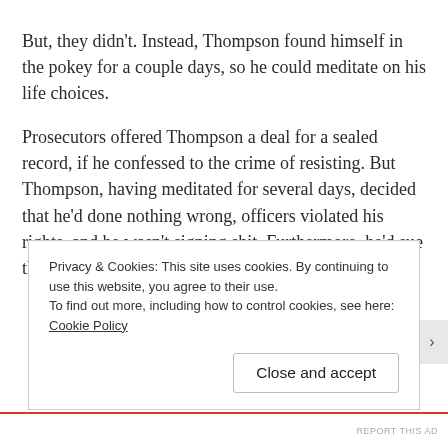But, they didn't. Instead, Thompson found himself in the pokey for a couple days, so he could meditate on his life choices.
Prosecutors offered Thompson a deal for a sealed record, if he confessed to the crime of resisting. But Thompson, having meditated for several days, decided that he'd done nothing wrong, officers violated his rights, and he wasn't signing shit. Furthermore, he'd sue the officers for wrongful arrest.
Privacy & Cookies: This site uses cookies. By continuing to use this website, you agree to their use.
To find out more, including how to control cookies, see here: Cookie Policy
Close and accept